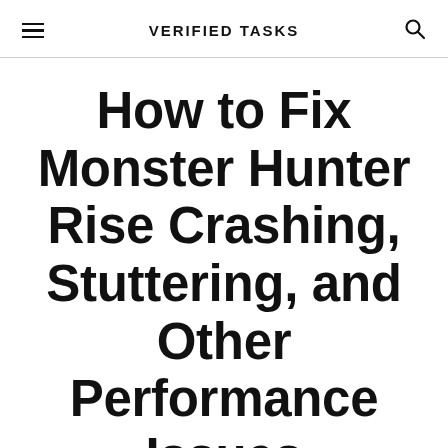VERIFIED TASKS
How to Fix Monster Hunter Rise Crashing, Stuttering, and Other Performance Issues